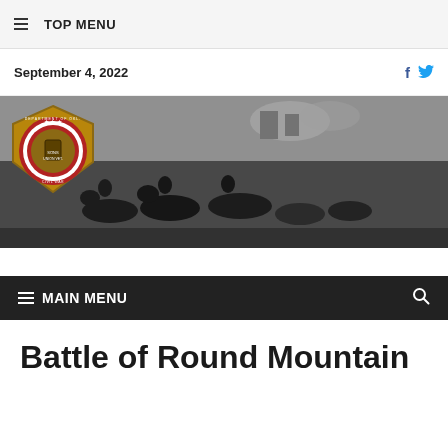☰ TOP MENU
September 4, 2022
[Figure (illustration): Banner image showing a Civil War battle scene with cavalry soldiers on horseback, with the Department of Oklahoma Sons of Union Veterans Civil War seal/badge overlaid on the left side]
☰ MAIN MENU
Battle of Round Mountain